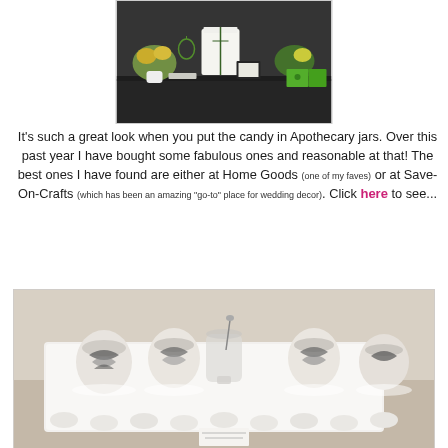[Figure (photo): Party dessert table with white cake, green and black decorations, apothecary jars with candy, flowers, and green popcorn boxes on a black tablecloth]
It's such a great look when you put the candy in Apothecary jars. Over this past year I have bought some fabulous ones and reasonable at that! The best ones I have found are either at Home Goods (one of my faves) or at Save-On-Crafts (which has been an amazing "go-to" place for wedding decor). Click here to see...
[Figure (photo): Close-up of apothecary jars filled with black and white candy/sweets on a white tray, with small round white chocolates in the foreground]